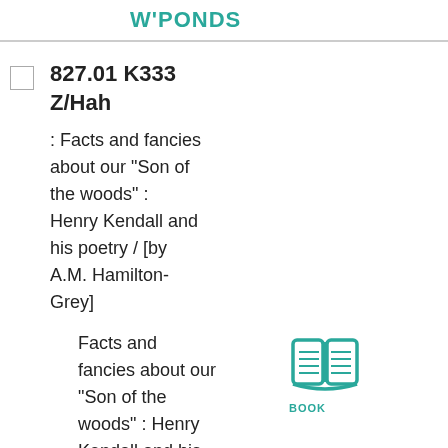W'PONDS
827.01 K333 Z/Hah
: Facts and fancies about our "Son of the woods" : Henry Kendall and his poetry / [by A.M. Hamilton-Grey]
Facts and fancies about our "Son of the woods" : Henry Kendall and his poetry / [by A.M. Hamilton-Grey]
[Figure (illustration): Book icon with teal color, labeled BOOK]
1940
WATERET